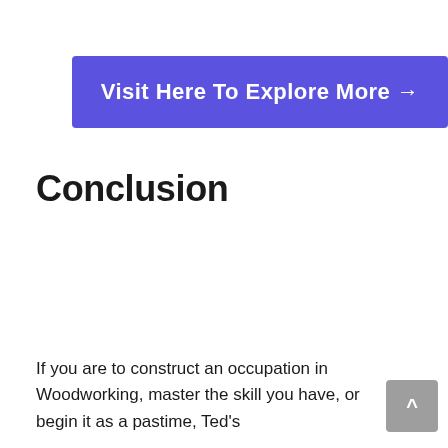[Figure (other): Blue/purple banner button reading 'Visit Here To Explore More →']
Conclusion
If you are to construct an occupation in Woodworking, master the skill you have, or begin it as a pastime, Ted's